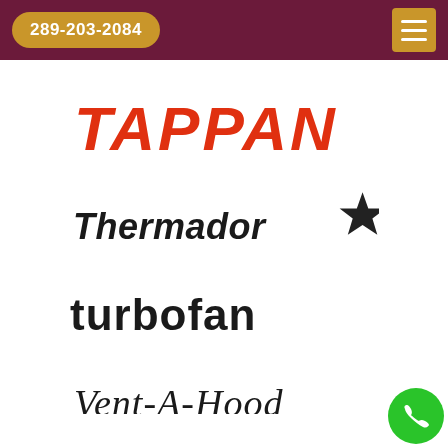289-203-2084
[Figure (logo): TAPPAN brand logo in bold red italic uppercase letters]
[Figure (logo): Thermador brand logo in bold dark italic font with a black star icon to the right]
[Figure (logo): turbofan brand logo in bold black sans-serif lowercase font]
[Figure (logo): Vent-A-Hood brand logo in cursive/script italic font, partially visible at bottom]